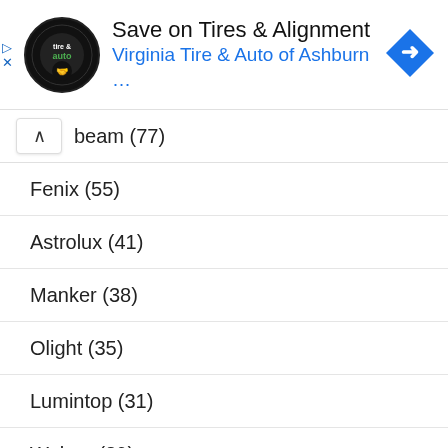[Figure (screenshot): Advertisement banner for Virginia Tire & Auto of Ashburn with logo, text and navigation arrow icon]
beam (77)
Fenix (55)
Astrolux (41)
Manker (38)
Olight (35)
Lumintop (31)
Wuben (29)
Sofirn (27)
Thrunite (22)
Skilhunt (22)
Klarus (21)